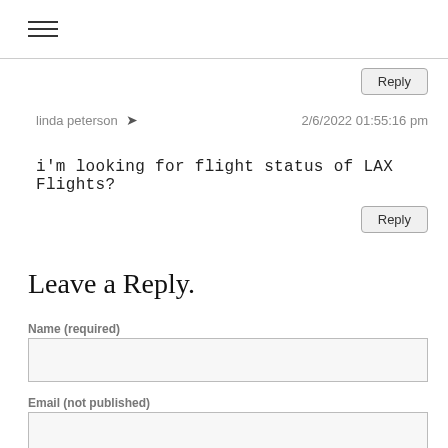☰ (hamburger menu icon)
linda peterson  ➤   2/6/2022 01:55:16 pm
i'm looking for flight status of LAX Flights?
Leave a Reply.
Name (required)
Email (not published)